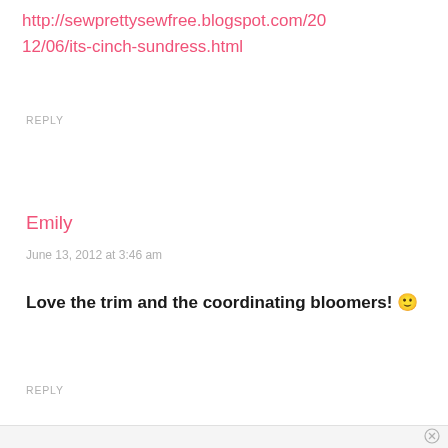http://sewprettysewfree.blogspot.com/2012/06/its-cinch-sundress.html
REPLY
Emily
June 13, 2012 at 3:46 am
Love the trim and the coordinating bloomers! 🙂
REPLY